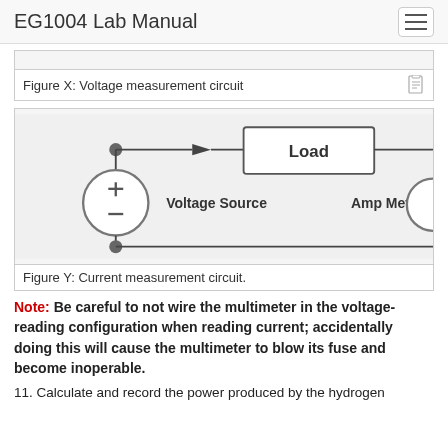EG1004 Lab Manual
Figure X: Voltage measurement circuit
[Figure (circuit-diagram): Current measurement circuit showing a voltage source (circle with + and - symbols), connected to a Load box via arrow, with an Amp Meter on the right side. Two nodes (filled circles) at top and bottom of the voltage source.]
Figure Y: Current measurement circuit.
Note: Be careful to not wire the multimeter in the voltage-reading configuration when reading current; accidentally doing this will cause the multimeter to blow its fuse and become inoperable.
11. Calculate and record the power produced by the hydrogen